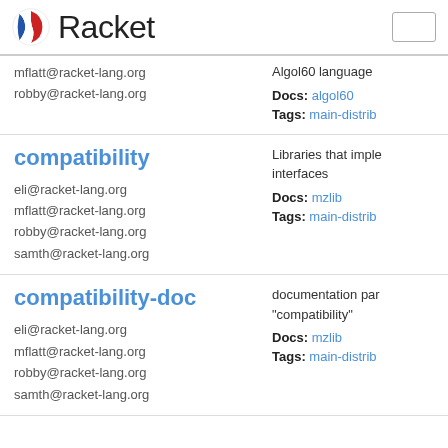Racket
mflatt@racket-lang.org
robby@racket-lang.org
Algol60 language
Docs: algol60
Tags: main-distrib
compatibility
eli@racket-lang.org
mflatt@racket-lang.org
robby@racket-lang.org
samth@racket-lang.org
Libraries that imple... interfaces
Docs: mzlib
Tags: main-distrib
compatibility-doc
eli@racket-lang.org
mflatt@racket-lang.org
robby@racket-lang.org
samth@racket-lang.org
documentation par... "compatibility"
Docs: mzlib
Tags: main-distrib